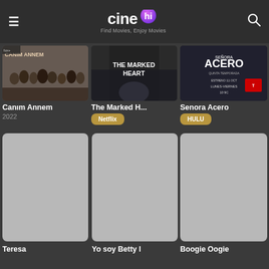cinehi — Find Movies, Enjoy Movies
[Figure (screenshot): Movie thumbnail for Canim Annem showing a group of people]
Canim Annem
2022
[Figure (screenshot): Movie thumbnail for The Marked Heart showing dark figure]
The Marked H...
Netflix
[Figure (screenshot): Movie thumbnail for Senora Acero TV show poster]
Senora Acero
HULU
[Figure (screenshot): Placeholder grey thumbnail for Teresa]
Teresa
[Figure (screenshot): Placeholder grey thumbnail for Yo soy Betty l]
Yo soy Betty l
[Figure (screenshot): Placeholder grey thumbnail for Boogie Oogie]
Boogie Oogie